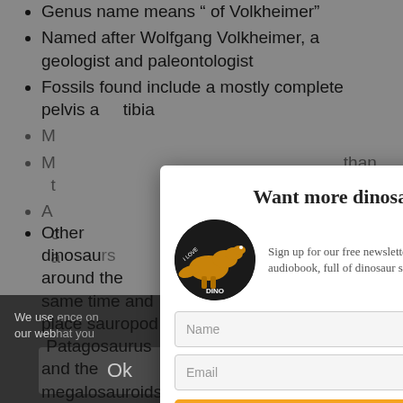Genus name means  of Volkheimer
Named after Wolfgang Volkheimer, a geologist and paleontologist
Fossils found include a mostly complete pelvis and tibia
[partial text visible]
[partial text visible] than [partial]
A[partial] and [partial]ods, a[partial]eria
We use [cookies] on our we[bsite] [for] [the] [best] [experi]ence on our web[site]. [Please accept] [so] that you
Other dinosau[rs lived] around the same time and place [including sauro]pod Patagosaurus and the megalosauroids
[Figure (screenshot): Newsletter subscription modal dialog with title 'Want more dinosaurs?', dinosaur audiobook image, name and email fields, and orange Subscribe button. Background shows a webpage with bulleted list about dinosaur facts, partially obscured by the modal and a cookie consent bar.]